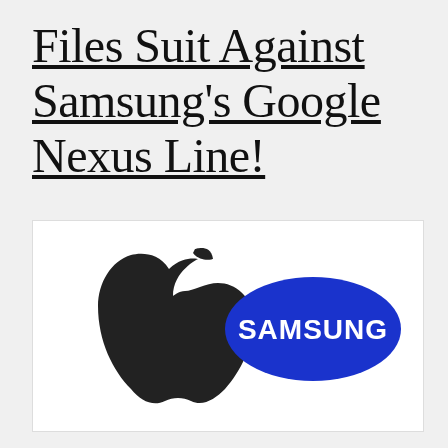Files Suit Against Samsung's Google Nexus Line!
[Figure (logo): Apple logo (black) on the left and Samsung logo (blue oval with white text) on the right, side by side on a white background.]